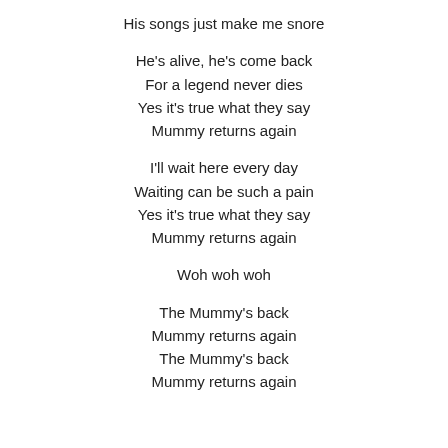His songs just make me snore
He's alive, he's come back
For a legend never dies
Yes it's true what they say
Mummy returns again
I'll wait here every day
Waiting can be such a pain
Yes it's true what they say
Mummy returns again
Woh woh woh
The Mummy's back
Mummy returns again
The Mummy's back
Mummy returns again